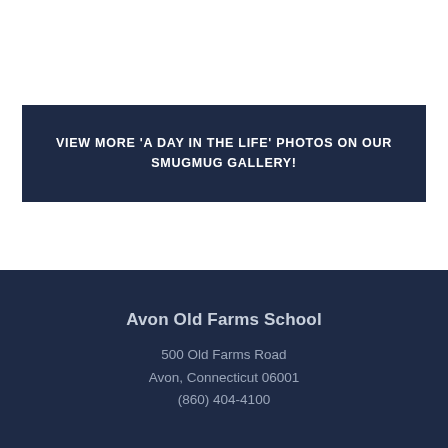VIEW MORE 'A DAY IN THE LIFE' PHOTOS ON OUR SMUGMUG GALLERY!
Avon Old Farms School
500 Old Farms Road
Avon, Connecticut 06001
(860) 404-4100